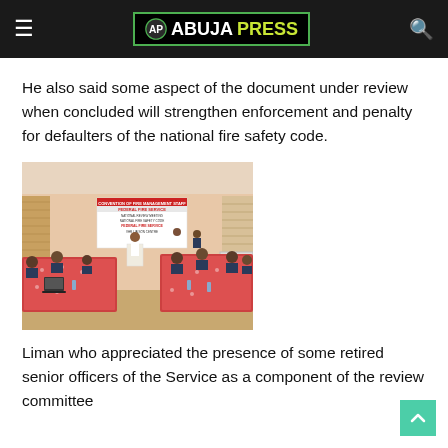ABUJAPRESS
He also said some aspect of the document under review when concluded will strengthen enforcement and penalty for defaulters of the national fire safety code.
[Figure (photo): A conference room scene showing uniformed officers seated around tables with red tablecloths, a speaker standing at a podium, and a banner reading 'FEDERAL FIRE SERVICE' in the background.]
Liman who appreciated the presence of some retired senior officers of the Service as a component of the review committee